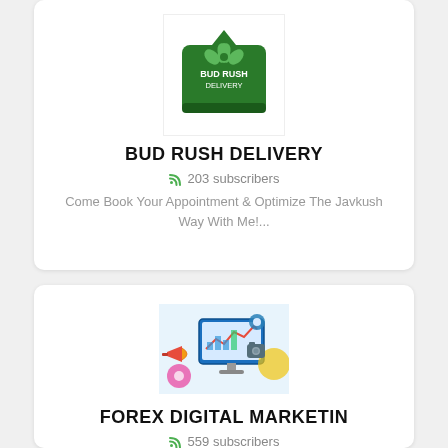[Figure (logo): Bud Rush Delivery green logo with cannabis leaf and delivery bag icon]
BUD RUSH DELIVERY
203 subscribers
Come Book Your Appointment & Optimize The Javkush Way With Me!...
[Figure (illustration): Forex Digital Marketing colorful 3D illustration with charts, megaphone, computer monitor, gears]
FOREX DIGITAL MARKETIN
559 subscribers